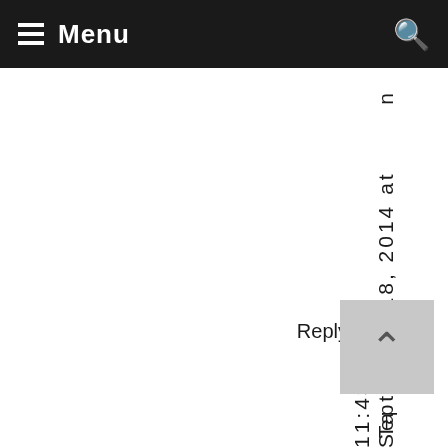Menu
n
September 18, 2014 at 11:43pm
Reply
Ta